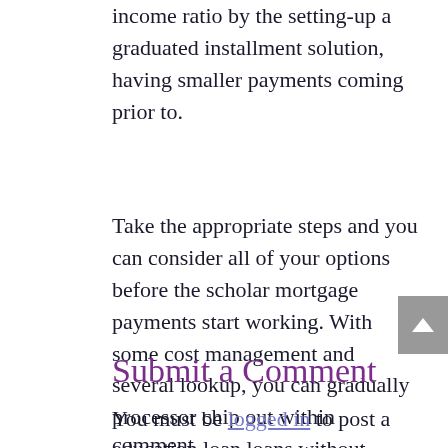income ratio by the setting-up a graduated installment solution, having smaller payments coming prior to.
Take the appropriate steps and you can consider all of your options before the scholar mortgage payments start working. With some cost management and several lookup, you can gradually processor chip out within education loan loans without getting overrun.
Submit a Comment
You must be logged in to post a comment.